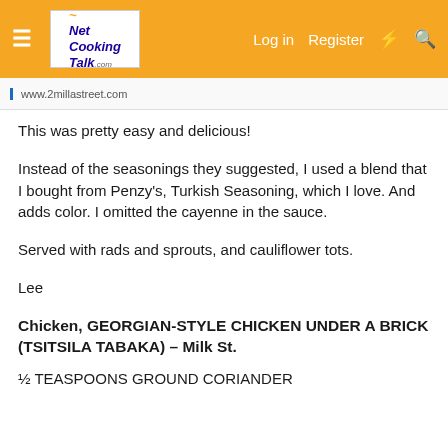Net Cooking Talk — Log in  Register
www.2millastreet.com
This was pretty easy and delicious!
Instead of the seasonings they suggested, I used a blend that I bought from Penzy's, Turkish Seasoning, which I love. And adds color. I omitted the cayenne in the sauce.
Served with rads and sprouts, and cauliflower tots.
Lee
Chicken, GEORGIAN-STYLE CHICKEN UNDER A BRICK (TSITSILA TABAKA) – Milk St.
½ TEASPOONS GROUND CORIANDER